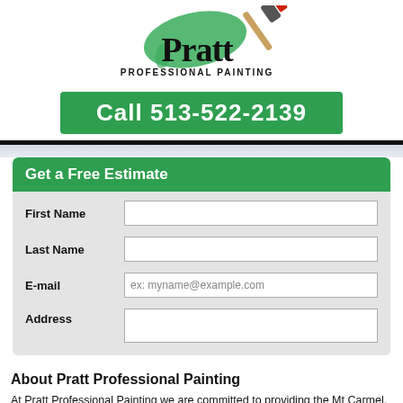[Figure (logo): Pratt Professional Painting logo with paintbrush and green paint splash, company name in bold serif font with 'PROFESSIONAL PAINTING' subtitle and green phone bar 'Call 513-522-2139']
Get a Free Estimate
First Name
Last Name
E-mail
Address
About Pratt Professional Painting
At Pratt Professional Painting we are committed to providing the Mt Carmel, OH area with quality products and outstanding workmanship when it comes to your exterior painting cost needs. We are very prep orientated, and dedicated to detail when it comes to your exterior painting cost services in the Mt Carmel, OH area. Our ongoing effort is to make your exterior painting cost experience a pleasant and gratifying one that lasts for many years to come. For all of your exterior painting cost needs